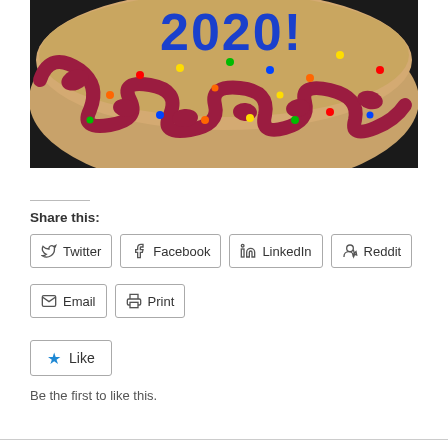[Figure (photo): Close-up photo of a round cookie cake or sugar cookie with tan/golden surface, blue frosting letters reading '2020!', dark red/crimson decorative swirl border frosting, and colorful confetti sprinkles (red, orange, yellow, green, blue) on a dark pan/plate on a granite surface.]
Share this:
Twitter
Facebook
LinkedIn
Reddit
Email
Print
Like
Be the first to like this.